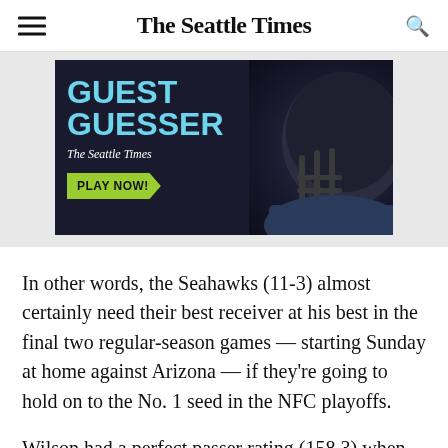The Seattle Times
[Figure (photo): Advertisement banner for 'Guest Guesser' by The Seattle Times, featuring a football player in a helmet on a dark background with cyan text 'GUEST GUESSER', The Seattle Times logo, and a yellow-green 'PLAY NOW!' button.]
In other words, the Seahawks (11-3) almost certainly need their best receiver at his best in the final two regular-season games — starting Sunday at home against Arizona — if they're going to hold on to the No. 1 seed in the NFC playoffs.
Wilson had a perfect passer rating (158.3) when targeting Lockett in 2018, and they again lead the